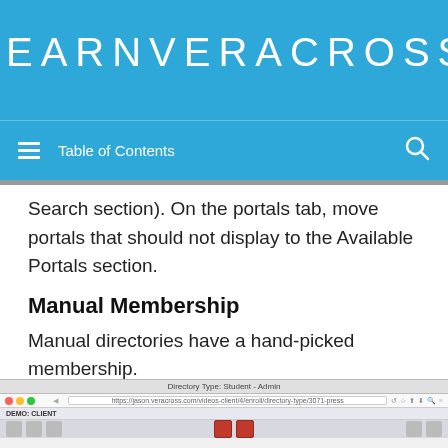LEARNVERACROSS
Table of Contents
Search section). On the portals tab, move portals that should not display to the Available Portals section.
Manual Membership
Manual directories have a hand-picked membership.
Display and Refreshing Options
[Figure (screenshot): Browser screenshot showing a Veracross demo client page with directory type student admin interface. URL bar shows https://jason.veracross.com/videos-client/4/enroll/directory-type/3071-press. Demo client navigation bar visible at bottom.]